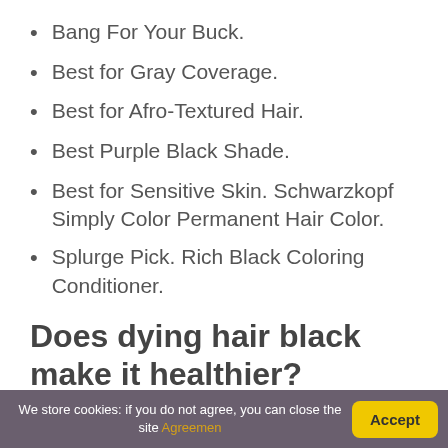Bang For Your Buck.
Best for Gray Coverage.
Best for Afro-Textured Hair.
Best Purple Black Shade.
Best for Sensitive Skin. Schwarzkopf Simply Color Permanent Hair Color.
Splurge Pick. Rich Black Coloring Conditioner.
Does dying hair black make it healthier?
Dye your hair a bit darker. If you've been lightening your hair for years with highlights or single process,
We store cookies: if you do not agree, you can close the site Agreemen